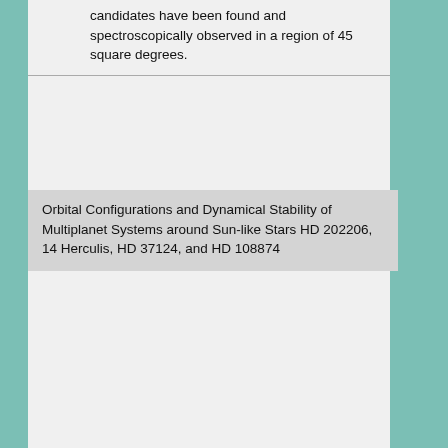candidates have been found and spectroscopically observed in a region of 45 square degrees.
Orbital Configurations and Dynamical Stability of Multiplanet Systems around Sun-like Stars HD 202206, 14 Herculis, HD 37124, and HD 108874
Goździewski, K., Konacki, M., and Maciejewski, A. J.
2006 , The Astrophysical Journal, Volume 645, Issue 1, pp. 688-703.
Abstract: We perform a dynamical analysis of the recently published radial velocity (RV) measurements of a few solar-type stars that host multiple Jupiter-like planets. In